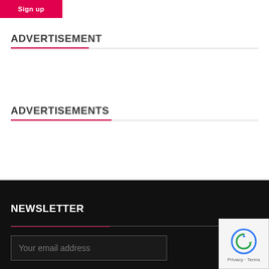Sign up
ADVERTISEMENT
ADVERTISEMENTS
NEWSLETTER
Your email address